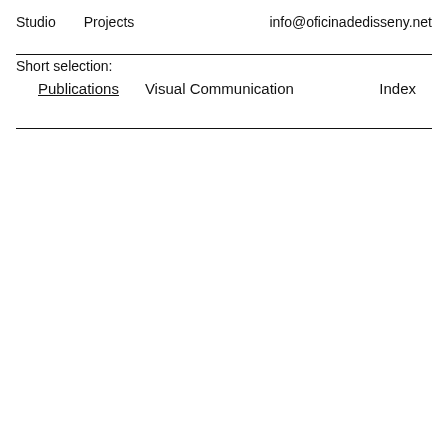Studio   Projects   info@oficinadedisseny.net
Short selection:
Publications   Visual Communication   Index